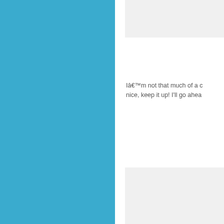[Figure (illustration): Large blue rectangular panel on the left side of the page]
I’m not that much of a c nice, keep it up! I'll go ahea
This web .I needed
It’s actually a cool an simply shared this useful
I am regular visitor, how ar